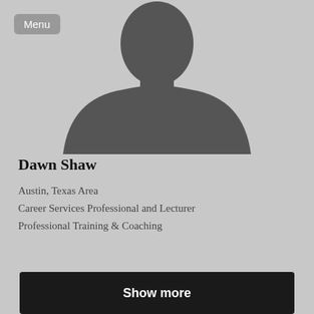[Figure (illustration): Default profile silhouette placeholder image showing a generic person outline in dark gray on a light gray background]
Dawn Shaw
Austin, Texas Area
Career Services Professional and Lecturer
Professional Training & Coaching
Show more